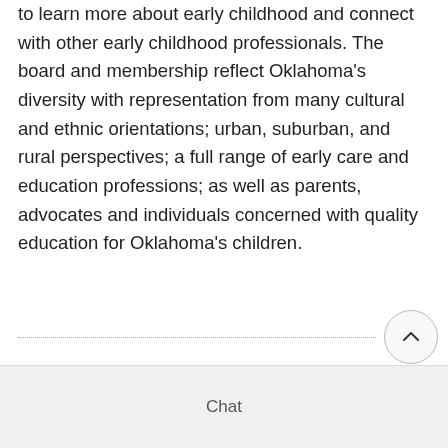to learn more about early childhood and connect with other early childhood professionals. The board and membership reflect Oklahoma's diversity with representation from many cultural and ethnic orientations; urban, suburban, and rural perspectives; a full range of early care and education professions; as well as parents, advocates and individuals concerned with quality education for Oklahoma's children.
[Figure (other): Dotted horizontal divider line with a circular scroll-up button on the right]
Chat